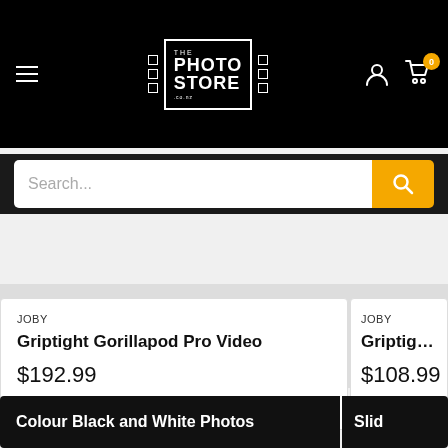The Photo Store — navigation header with logo, hamburger menu, account icon, cart (0 items)
Search...
JOBY
Griptight Gorillapod Pro Video
$192.99
In stock
JOBY
Griptight Pro Vide...
$108.99
In stock
Colour Black and White Photos
Slid...